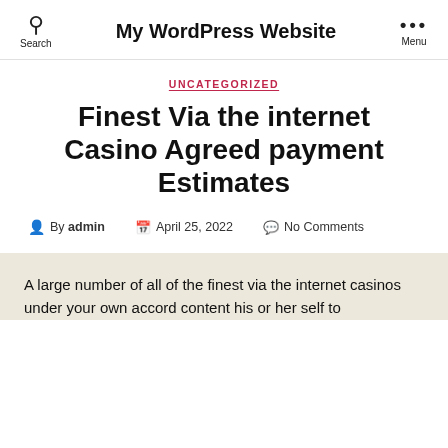My WordPress Website
UNCATEGORIZED
Finest Via the internet Casino Agreed payment Estimates
By admin   April 25, 2022   No Comments
A large number of all of the finest via the internet casinos under your own accord content his or her self to